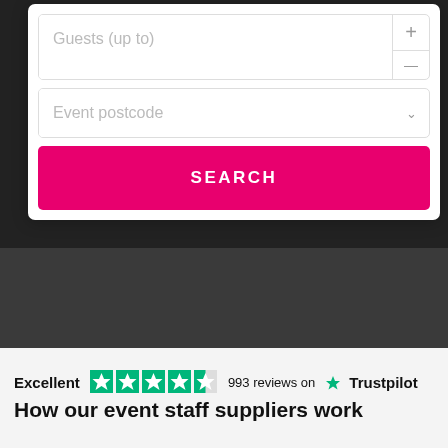[Figure (screenshot): Web form with Guests (up to) input field with plus/minus stepper, Event postcode dropdown field, and a pink SEARCH button on a dark background]
Excellent  993 reviews on  Trustpilot
How our event staff suppliers work